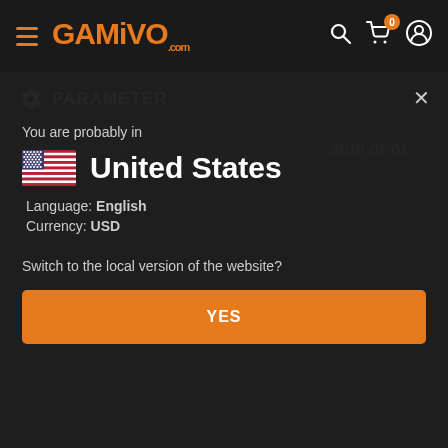GAMIVO.com navigation bar with hamburger menu, logo, search, cart (0 items), and user icon
PARAMETER
| Release date: | 2018-01-01 |
| --- | --- |
You are probably in
United States
Language: English
Currency: USD
Switch to the local version of the website?
YES